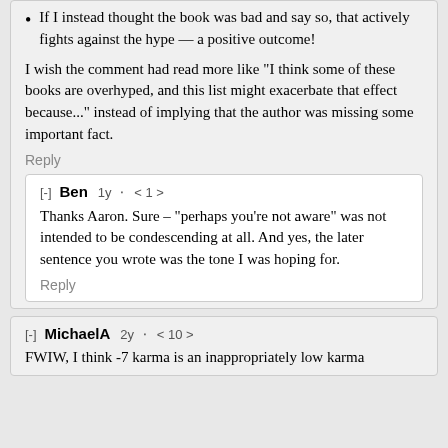If I instead thought the book was bad and say so, that actively fights against the hype — a positive outcome!
I wish the comment had read more like "I think some of these books are overhyped, and this list might exacerbate that effect because..." instead of implying that the author was missing some important fact.
Reply
[-] Ben 1y 🔗 < 1 >
Thanks Aaron. Sure – "perhaps you're not aware" was not intended to be condescending at all. And yes, the later sentence you wrote was the tone I was hoping for.
Reply
[-] MichaelA 2y 🔗 < 10 >
FWIW, I think -7 karma is an inappropriately low karma